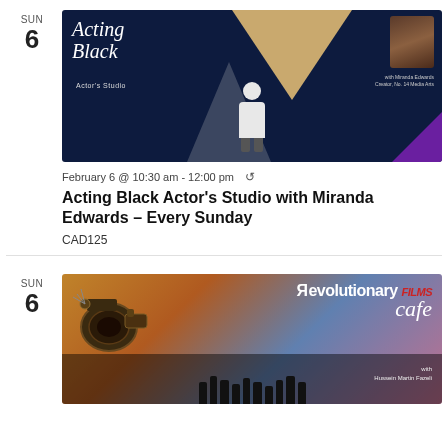[Figure (photo): Acting Black Actor's Studio promotional image with dark navy background, gold triangle, spotlight on white silhouette figure, script text 'Acting Black Actor's Studio', and photo of Miranda Edwards]
February 6 @ 10:30 am - 12:00 pm ↺
Acting Black Actor's Studio with Miranda Edwards – Every Sunday
CAD125
[Figure (photo): Revolutionary Films Cafe promotional image with vintage movie camera, silhouettes of people, text overlay 'Revolutionary Films cafe' with host Hussein Martin Fazeli]